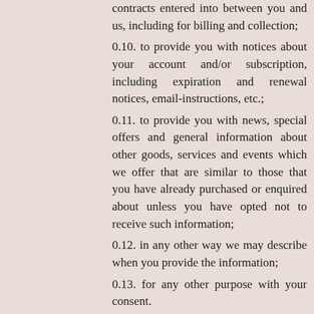contracts entered into between you and us, including for billing and collection;
0.10. to provide you with notices about your account and/or subscription, including expiration and renewal notices, email-instructions, etc.;
0.11. to provide you with news, special offers and general information about other goods, services and events which we offer that are similar to those that you have already purchased or enquired about unless you have opted not to receive such information;
0.12. in any other way we may describe when you provide the information;
0.13. for any other purpose with your consent.
6. Retention of Data